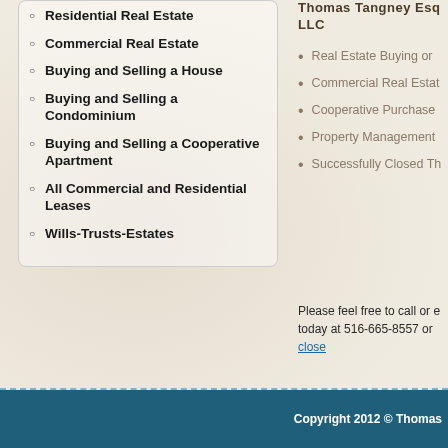Residential Real Estate
Commercial Real Estate
Buying and Selling a House
Buying and Selling a Condominium
Buying and Selling a Cooperative Apartment
All Commercial and Residential Leases
Wills-Trusts-Estates
Thomas Tangney Esq LLC
Real Estate Buying or
Commercial Real Estat
Cooperative Purchase
Property Management
Successfully Closed Th
Please feel free to call or e today at 516-665-8557 or close
Copyright 2012 © Thomas